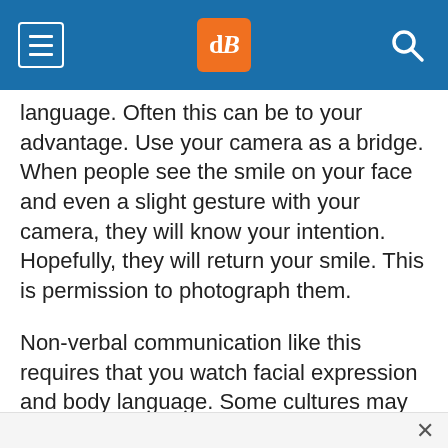dPS navigation bar with hamburger menu, dPS logo, and search icon
language. Often this can be to your advantage. Use your camera as a bridge. When people see the smile on your face and even a slight gesture with your camera, they will know your intention. Hopefully, they will return your smile. This is permission to photograph them.
Non-verbal communication like this requires that you watch facial expression and body language. Some cultures may smile and mean ‘no.’ So long as you are observant and polite, you will be okay